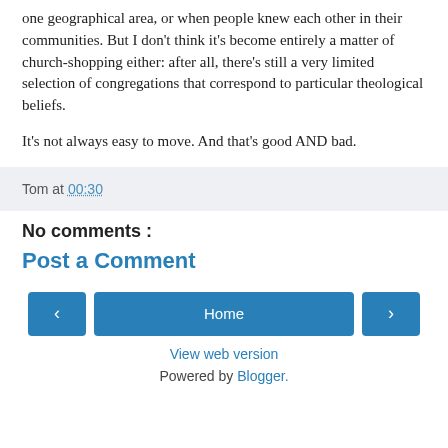one geographical area, or when people knew each other in their communities. But I don't think it's become entirely a matter of church-shopping either: after all, there's still a very limited selection of congregations that correspond to particular theological beliefs.
It's not always easy to move. And that's good AND bad.
Tom at 00:30
No comments :
Post a Comment
‹ Home › View web version Powered by Blogger.